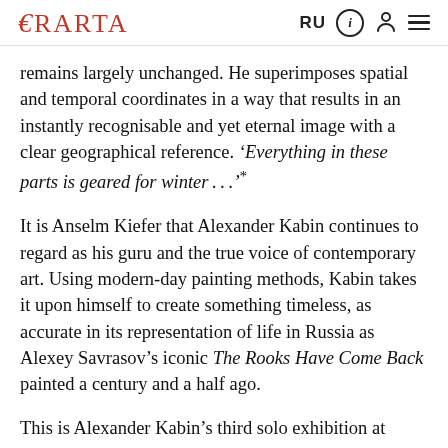ERARTA   RU
remains largely unchanged. He superimposes spatial and temporal coordinates in a way that results in an instantly recognisable and yet eternal image with a clear geographical reference. ‘Everything in these parts is geared for winter . . .’*
It is Anselm Kiefer that Alexander Kabin continues to regard as his guru and the true voice of contemporary art. Using modern-day painting methods, Kabin takes it upon himself to create something timeless, as accurate in its representation of life in Russia as Alexey Savrasov’s iconic The Rooks Have Come Back painted a century and a half ago.
This is Alexander Kabin’s third solo exhibition at Erarta Museum. His works are also on display as part of the museum’s permanent collection